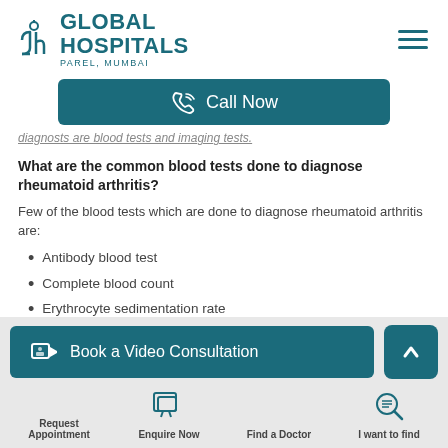[Figure (logo): Global Hospitals Parel Mumbai logo with teal text and stylized icon]
[Figure (screenshot): Hamburger menu icon with three teal horizontal lines]
[Figure (screenshot): Call Now button in teal with phone icon]
diagnosts are blood tests and imaging tests.
What are the common blood tests done to diagnose rheumatoid arthritis?
Few of the blood tests which are done to diagnose rheumatoid arthritis are:
Antibody blood test
Complete blood count
Erythrocyte sedimentation rate
[Figure (screenshot): Book a Video Consultation button in teal with camera icon, and scroll-to-top arrow button]
Request Appointment
Enquire Now
Find a Doctor
I want to find